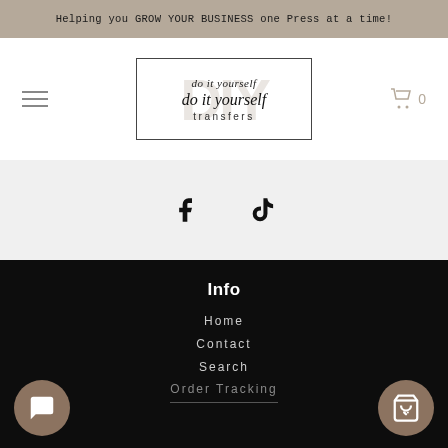Helping you GROW YOUR BUSINESS one Press at a time!
[Figure (logo): Do It Yourself Transfers logo inside a rectangular border with DIY watermark text in background]
[Figure (infographic): Social media icons: Facebook (f) and TikTok (music note) icons on light grey background]
Info
Home
Contact
Search
Order Tracking